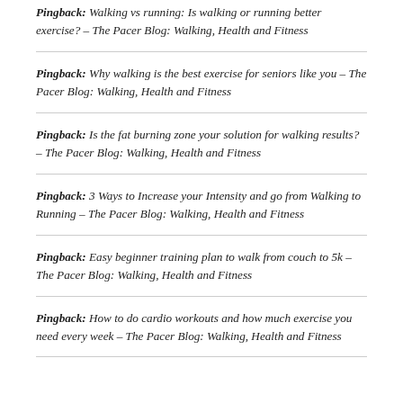Pingback: Walking vs running: Is walking or running better exercise? – The Pacer Blog: Walking, Health and Fitness
Pingback: Why walking is the best exercise for seniors like you – The Pacer Blog: Walking, Health and Fitness
Pingback: Is the fat burning zone your solution for walking results? – The Pacer Blog: Walking, Health and Fitness
Pingback: 3 Ways to Increase your Intensity and go from Walking to Running – The Pacer Blog: Walking, Health and Fitness
Pingback: Easy beginner training plan to walk from couch to 5k – The Pacer Blog: Walking, Health and Fitness
Pingback: How to do cardio workouts and how much exercise you need every week – The Pacer Blog: Walking, Health and Fitness